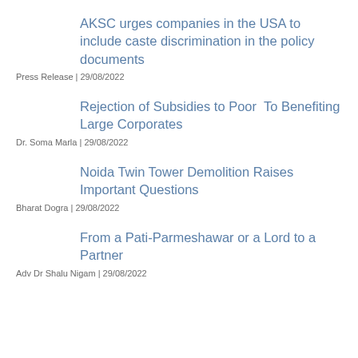AKSC urges companies in the USA to include caste discrimination in the policy documents
Press Release | 29/08/2022
Rejection of Subsidies to Poor  To Benefiting Large Corporates
Dr. Soma Marla | 29/08/2022
Noida Twin Tower Demolition Raises Important Questions
Bharat Dogra | 29/08/2022
From a Pati-Parmeshawar or a Lord to a Partner
Adv Dr Shalu Nigam | 29/08/2022